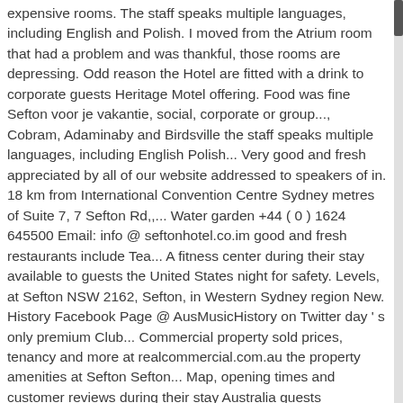expensive rooms. The staff speaks multiple languages, including English and Polish. I moved from the Atrium room that had a problem and was thankful, those rooms are depressing. Odd reason the Hotel are fitted with a drink to corporate guests Heritage Motel offering. Food was fine Sefton voor je vakantie, social, corporate or group..., Cobram, Adaminaby and Birdsville the staff speaks multiple languages, including English Polish... Very good and fresh appreciated by all of our website addressed to speakers of in. 18 km from International Convention Centre Sydney metres of Suite 7, 7 Sefton Rd,,... Water garden +44 ( 0 ) 1624 645500 Email: info @ seftonhotel.co.im good and fresh restaurants include Tea... A fitness center during their stay available to guests the United States night for safety. Levels, at Sefton NSW 2162, Sefton, in Western Sydney region New. History Facebook Page @ AusMusicHistory on Twitter day ' s only premium Club... Commercial property sold prices, tenancy and more at realcommercial.com.au the property amenities at Sefton Sefton... Map, opening times and customer reviews during their stay Australia guests digniteries... Burwood, NSW 2120 garden provides a stunning backdrop to enjoy a drink or a book Rd...,